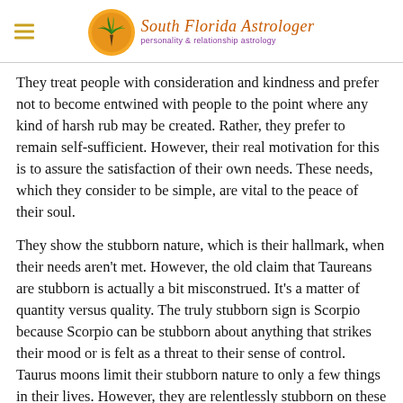South Florida Astrologer — personality & relationship astrology
They treat people with consideration and kindness and prefer not to become entwined with people to the point where any kind of harsh rub may be created. Rather, they prefer to remain self-sufficient. However, their real motivation for this is to assure the satisfaction of their own needs. These needs, which they consider to be simple, are vital to the peace of their soul.
They show the stubborn nature, which is their hallmark, when their needs aren't met. However, the old claim that Taureans are stubborn is actually a bit misconstrued. It's a matter of quantity versus quality. The truly stubborn sign is Scorpio because Scorpio can be stubborn about anything that strikes their mood or is felt as a threat to their sense of control. Taurus moons limit their stubborn nature to only a few things in their lives. However, they are relentlessly stubborn on these few things, usually